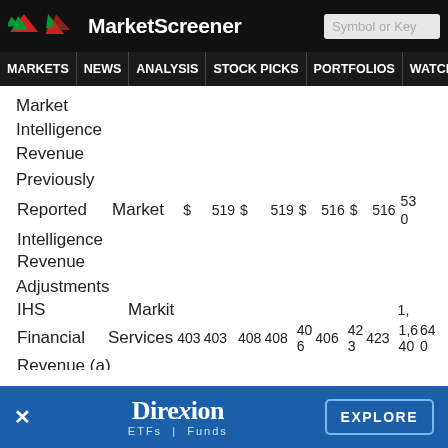MarketScreener
MARKETS NEWS ANALYSIS STOCK PICKS PORTFOLIOS WATCHLI
|  |  |  |  |  |  |  |  |  |  |
| --- | --- | --- | --- | --- | --- | --- | --- | --- | --- |
| Market Intelligence Revenue |  |  |  |  |  |  |  |  |  |
| Previously Reported Market Intelligence Revenue | $ | 519 | $ | 519 | $ | 516 | $ | 516 | $ | 530 |
| Adjustments |  |  |  |  |  |  |  |  |  |
| IHS Markit Financial Services Revenue (a) | 403 | 403 | 408 | 408 | 406 | 406 | 423 | 423 | 1,640 |
[Figure (screenshot): Direxion ETFs Funds advertisement bar at the bottom with Explore button]